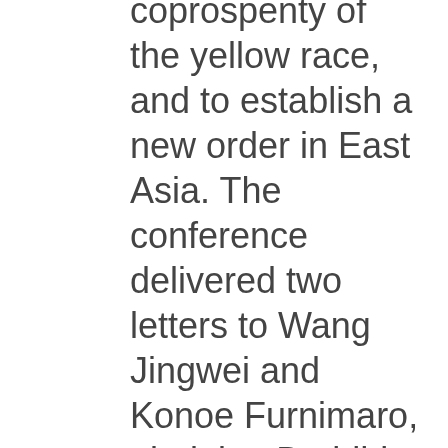coprospenty of the yellow race, and to establish a new order in East Asia. The conference delivered two letters to Wang Jingwei and Konoe Furnimaro, pledging Buddhist support for establishing "real peace and order" in China. Meanwhile, it also passed a resolution that urged Jiang Jieshi and the Nationalist government in Chongqing to stop the resistance war and to solve Sino-Japan conflict through political negotiation.